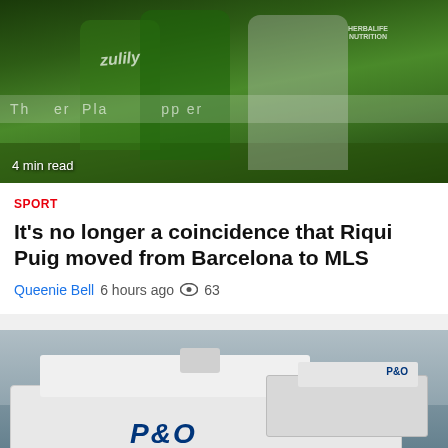[Figure (photo): Soccer players on field, one in green Seattle Sounders jersey, another in white LA Galaxy uniform with Herbalife Nutrition sponsor, text '4 min read' overlay]
4 min read
SPORT
It's no longer a coincidence that Riqui Puig moved from Barcelona to MLS
Queenie Bell  6 hours ago  👁 63
[Figure (photo): P&O ferry ships docked at port, two large white ferries visible with P&O logo, overcast sky, port infrastructure visible, text '7 min read' overlay]
7 min read